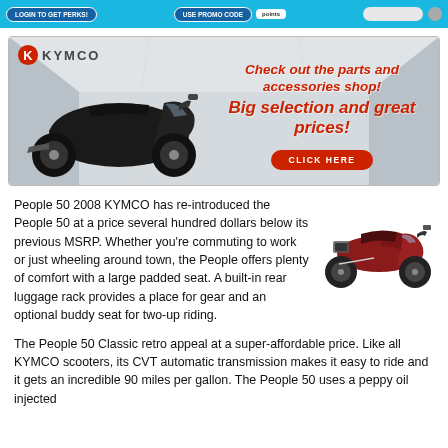[Figure (screenshot): Top navigation banner bar with blue background, buttons for login/promo, search bar on right]
[Figure (photo): KYMCO advertisement banner showing a black KYMCO scooter on the left with KYMCO logo top-left, red italic text reading 'Check out the parts and accessories shop! Big selection and great prices!' and a red CLICK HERE button]
People 50 2008 KYMCO has re-introduced the People 50 at a price several hundred dollars below its previous MSRP. Whether you're commuting to work or just wheeling around town, the People offers plenty of comfort with a large padded seat. A built-in rear luggage rack provides a place for gear and an optional buddy seat for two-up riding.
[Figure (photo): Dark red/maroon KYMCO People 50 scooter shown from the side, positioned to the right of the text]
The People 50 Classic retro appeal at a super-affordable price. Like all KYMCO scooters, its CVT automatic transmission makes it easy to ride and it gets an incredible 90 miles per gallon. The People 50 uses a peppy oil injected